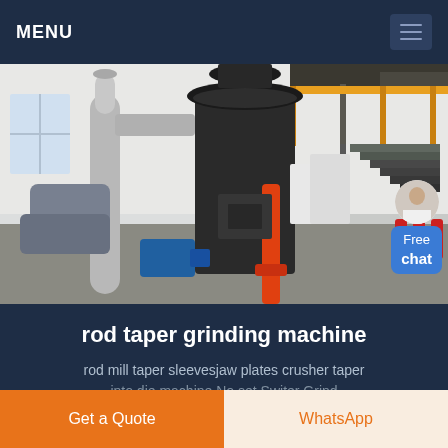MENU
[Figure (photo): Industrial rod taper grinding machine in a factory setting. Large black cylindrical grinding mill with metal ductwork, an electric motor (blue), an orange pipe/hose, yellow safety railings on an elevated platform with stairs, and fire extinguishers in the background. White walls with high ceilings.]
rod taper grinding machine
rod mill taper sleevesjaw plates crusher taper
Get a Quote
WhatsApp